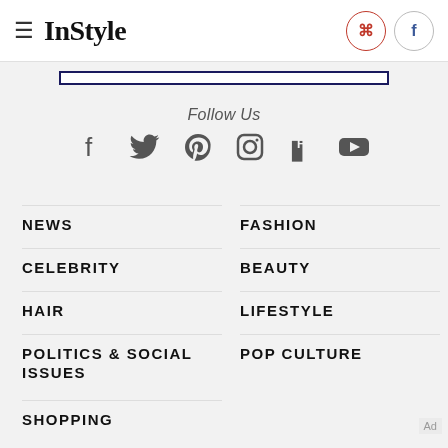InStyle
[Figure (other): Dark navy blue bordered rectangle bar]
Follow Us
[Figure (other): Social media icons row: Facebook, Twitter, Pinterest, Instagram, Flipboard, YouTube]
NEWS
FASHION
CELEBRITY
BEAUTY
HAIR
LIFESTYLE
POLITICS & SOCIAL ISSUES
POP CULTURE
SHOPPING